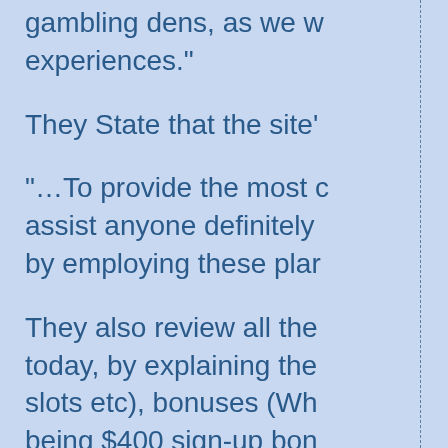gambling dens, as we w experiences."
They State that the site'
"…To provide the most assist anyone definitely by employing these plar
They also review all the today, by explaining the slots etc), bonuses (Wh being $400 sign-up bon whole overall performar
The Gambling plans cov schemes, slots schemes plans, baccarat chemin schemes … Video Poke pages, each scheme pa examples of plans and v plus rules, odds of the g and Free internet casino